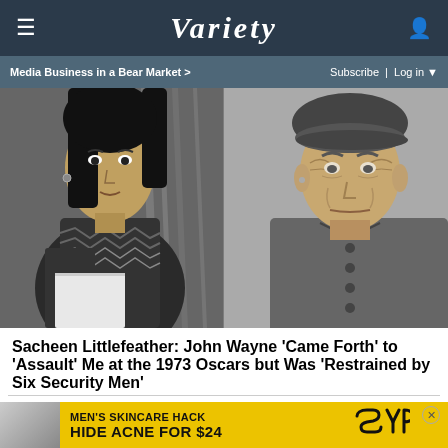VARIETY — Media Business in a Bear Market > | Subscribe | Log in
[Figure (photo): Black and white composite photo: on the left, Sacheen Littlefeather holding papers, wearing patterned clothing; on the right, John Wayne in a dark shirt and beret-style hat, looking concerned.]
Sacheen Littlefeather: John Wayne 'Came Forth' to 'Assault' Me at the 1973 Oscars but Was 'Restrained by Six Security Men'
[Figure (other): Advertisement banner: MEN'S SKINCARE HACK — HIDE ACNE FOR $24 — SPY logo on yellow background]